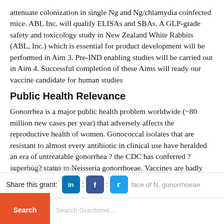attenuate colonization in single Ng and Ng/chlamydia coinfected mice. ABL Inc. will qualify ELISAs and SBAs. A GLP-grade safety and toxicology study in New Zealand White Rabbits (ABL, Inc.) which is essential for product development will be performed in Aim 3. Pre-IND enabling studies will be carried out in Aim 4. Successful completion of these Aims will ready our vaccine candidate for human studies
Public Health Relevance
Gonorrhea is a major public health problem worldwide (~80 million new cases per year) that adversely affects the reproductive health of women. Gonococcal isolates that are resistant to almost every antibiotic in clinical use have heralded an era of untreatable gonorrhea ? the CDC has conferred ?superbug? status to Neisseria gonorrhoeae. Vaccines are badly needed for this disease
Share this grant: [LinkedIn] : [Facebook] : [Twitter] face of N. gonorrhoeae changes during infection, we have designed a vaccine candidate against gonorrhea to overcome surface